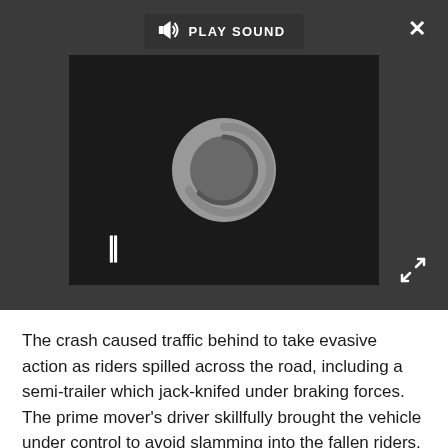[Figure (screenshot): A dark media player UI with a loading/spinning circle animation, pause button (||), a 'PLAY SOUND' button with speaker icon in the top area, a close (X) button top-right, and an expand (diagonal arrows) button bottom-right.]
The crash caused traffic behind to take evasive action as riders spilled across the road, including a semi-trailer which jack-knifed under braking forces. The prime mover's driver skillfully brought the vehicle under control to avoid slamming into the fallen riders.
"I'm just glad nobody is dead," admitted Kersten, who was left with the imprint of a chain ring on his back. "I went flying through a group of about 20 people and 20 more hit me."